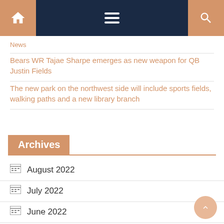Navigation bar with home, menu, and search icons
News
Bears WR Tajae Sharpe emerges as new weapon for QB Justin Fields
The new park on the northwest side will include sports fields, walking paths and a new library branch
Archives
August 2022
July 2022
June 2022
May 2022